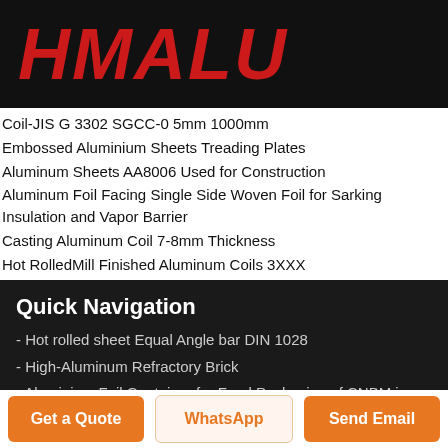[Figure (logo): HMALU logo in red bold italic text on black background]
Coil-JIS G 3302 SGCC-0 5mm 1000mm
Embossed Aluminium Sheets Treading Plates
Aluminum Sheets AA8006 Used for Construction
Aluminum Foil Facing Single Side Woven Foil for Sarking Insulation and Vapor Barrier
Casting Aluminum Coil 7-8mm Thickness
Hot RolledMill Finished Aluminum Coils 3XXX
Quick Navigation
- Hot rolled sheet Equal Angle bar DIN 1028
- High-Aluminum Refractory Brick
- Aluminium Foil Container for Food Packaging of CNBM in China
- Color Coated Aluminium Sheets for Composition Panel
Get a Quote
WhatsApp
Send Email